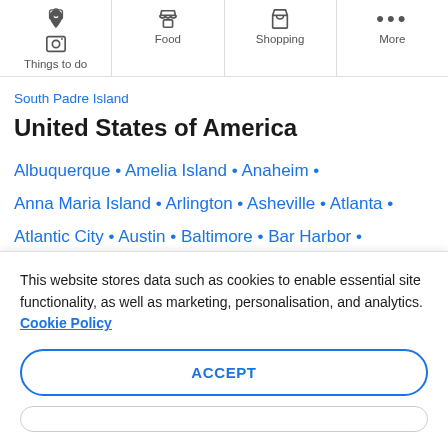Things to do | Food | Shopping | More
South Padre Island
United States of America
Albuquerque • Amelia Island • Anaheim •
Anna Maria Island • Arlington • Asheville • Atlanta •
Atlantic City • Austin • Baltimore • Bar Harbor •
Show more...
(Alabama • Alaska • Arizona • Arkansas •
This website stores data such as cookies to enable essential site functionality, as well as marketing, personalisation, and analytics. Cookie Policy
ACCEPT